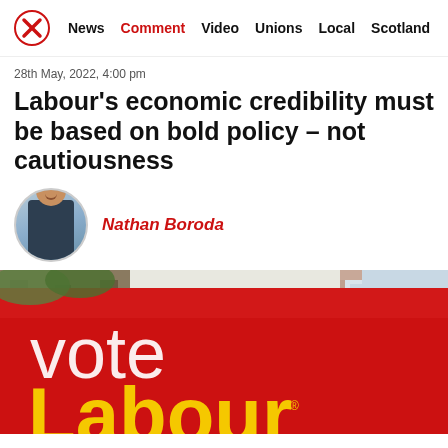News  Comment  Video  Unions  Local  Scotland
28th May, 2022, 4:00 pm
Labour's economic credibility must be based on bold policy – not cautiousness
Nathan Boroda
[Figure (photo): A large red Vote Labour banner/sign photographed outdoors with the words 'vote' in white and 'Labour' in yellow visible. Background shows a brick building and trees.]